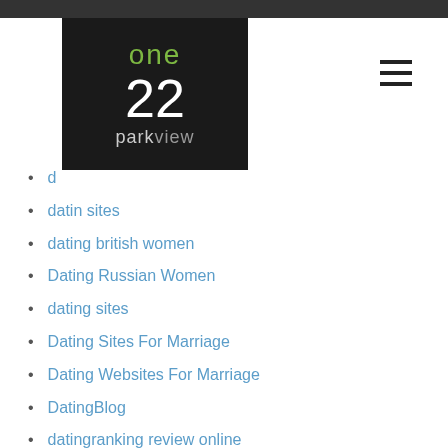[Figure (logo): One22 Parkview logo on dark background — 'one' in green, '22' in white large numerals, 'parkview' in light grey below]
d (partially visible)
datin sites
dating british women
Dating Russian Women
dating sites
Dating Sites For Marriage
Dating Websites For Marriage
DatingBlog
datingranking review online
Diamond Cbd Discount
Direct Lender Installment Loans In Mississippi